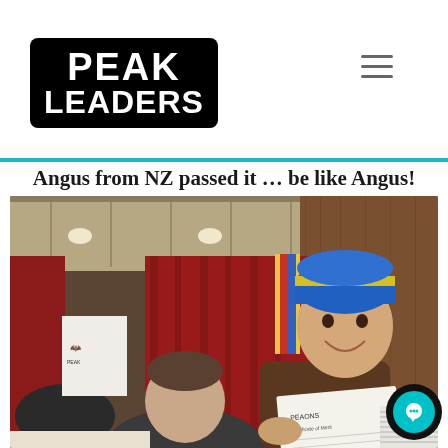[Figure (logo): Peak Leaders logo — black rounded rectangle with white bold text reading PEAK LEADERS]
Angus from NZ passed it … be like Angus!
[Figure (photo): A smiling young man wearing a blue and yellow beanie hat holding a certificate/paper in an indoor venue with red curtains. Another man stands in front of him. A bat logo poster is visible on the left.]